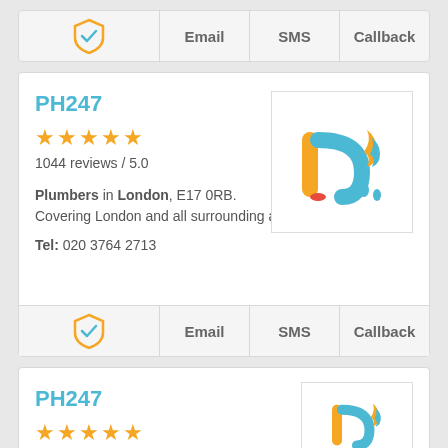[Figure (infographic): Top action bar with orange shield checkmark icon and Email, SMS, Callback buttons on grey background]
PH247
[Figure (logo): PH247 logo: orange pipe letter P and blue curved pipe with flame and water drops]
1044 reviews / 5.0
Plumbers in London, E17 0RB. Covering London and all surrounding areas.
Tel: 020 3764 2713
[Figure (infographic): Action bar with orange shield checkmark icon and Email, SMS, Callback buttons]
PH247
[Figure (logo): PH247 logo partial view]